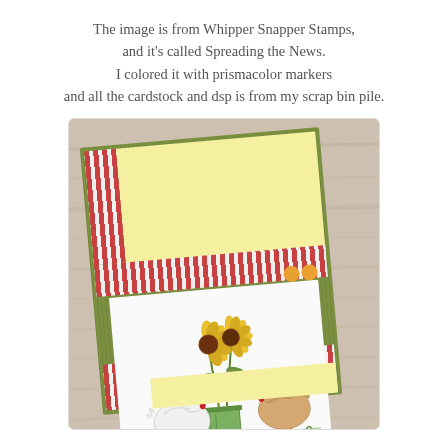The image is from Whipper Snapper Stamps, and it's called Spreading the News. I colored it with prismacolor markers and all the cardstock and dsp is from my scrap bin pile.
[Figure (photo): A handmade greeting card featuring two chickens with sunflowers in a pot, colored with prismacolor markers. The card uses green cardstock base, red and white striped dsp, yellow cardstock layer, and orange brad embellishments. Card is photographed at an angle on a wood background.]